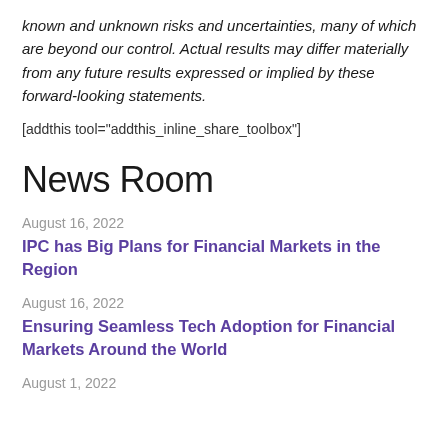known and unknown risks and uncertainties, many of which are beyond our control. Actual results may differ materially from any future results expressed or implied by these forward-looking statements.
[addthis tool="addthis_inline_share_toolbox"]
News Room
August 16, 2022
IPC has Big Plans for Financial Markets in the Region
August 16, 2022
Ensuring Seamless Tech Adoption for Financial Markets Around the World
August 1, 2022